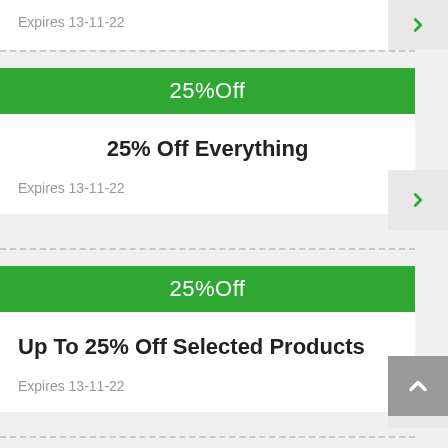Expires 13-11-22
25%Off
25% Off Everything
Expires 13-11-22
25%Off
Up To 25% Off Selected Products
Expires 13-11-22